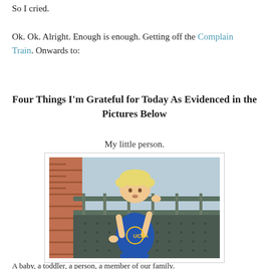So I cried.
Ok. Ok. Alright. Enough is enough. Getting off the Complain Train. Onwards to:
Four Things I'm Grateful for Today As Evidenced in the Pictures Below
My little person.
[Figure (photo): A toddler with blonde hair wearing a blue UCLA t-shirt, standing at a railing on a balcony or deck, with brick wall visible in background.]
A baby, a toddler, a person, a member of our family.